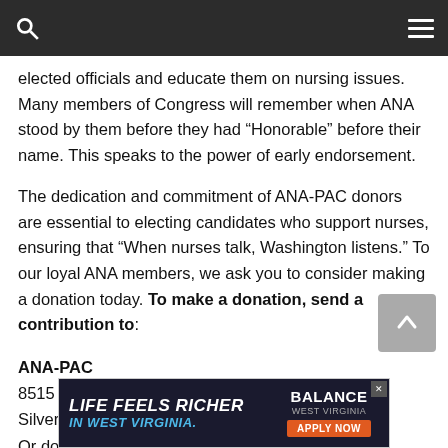Navigation bar with search and menu icons
elected officials and educate them on nursing issues. Many members of Congress will remember when ANA stood by them before they had “Honorable” before their name. This speaks to the power of early endorsement.
The dedication and commitment of ANA-PAC donors are essential to electing candidates who support nurses, ensuring that “When nurses talk, Washington listens.” To our loyal ANA members, we ask you to consider making a donation today. To make a donation, send a contribution to:
ANA-PAC
8515 Georgia Avenue, Suite 400
Silver
Or do
[Figure (other): Advertisement banner: LIFE FEELS RICHER IN WEST VIRGINIA. BALANCE WEST VIRGINIA. APPLY NOW button.]